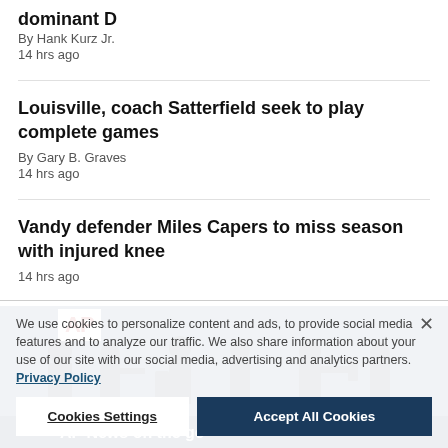dominant D
By Hank Kurz Jr.
14 hrs ago
Louisville, coach Satterfield seek to play complete games
By Gary B. Graves
14 hrs ago
Vandy defender Miles Capers to miss season with injured knee
14 hrs ago
[Figure (screenshot): Cookie consent overlay with AP News on the go promotional image behind it. The overlay contains cookie usage text, a Privacy Policy link, Cookies Settings and Accept All Cookies buttons, and a close X button. Behind the overlay is a dark blue AP News photo strip with the AP logo and silhouettes of journalists with cameras.]